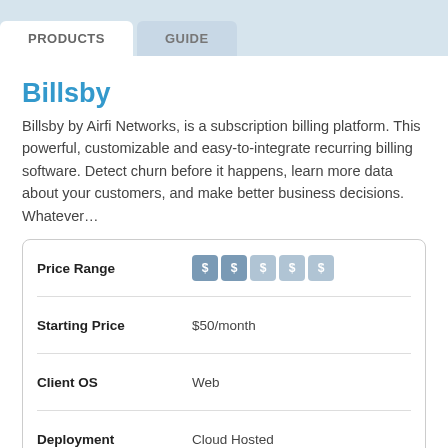PRODUCTS   GUIDE
Billsby
Billsby by Airfi Networks, is a subscription billing platform. This powerful, customizable and easy-to-integrate recurring billing software. Detect churn before it happens, learn more data about your customers, and make better business decisions. Whatever…
|  |  |
| --- | --- |
| Price Range | $$ |
| Starting Price | $50/month |
| Client OS | Web |
| Deployment | Cloud Hosted |
Demo   Pricing